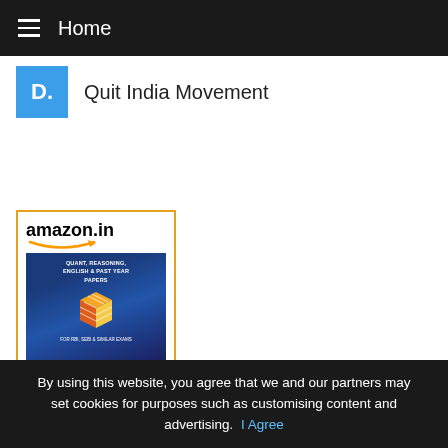Home
D.  Quit India Movement
[Figure (screenshot): Amazon.in advertisement showing a book cover for 'RBI Grade B, SEBI Grade A,...' with a Rubik's cube graphic on a dark blue background]
RBI Grade B, SEBI Grade A,...
By using this website, you agree that we and our partners may set cookies for purposes such as customising content and advertising.  I Agree